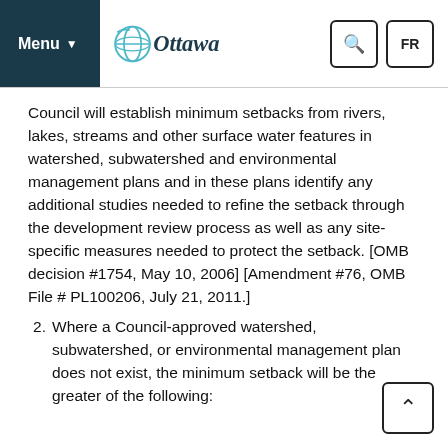Menu | Ottawa | Search | FR
Council will establish minimum setbacks from rivers, lakes, streams and other surface water features in watershed, subwatershed and environmental management plans and in these plans identify any additional studies needed to refine the setback through the development review process as well as any site-specific measures needed to protect the setback. [OMB decision #1754, May 10, 2006] [Amendment #76, OMB File # PL100206, July 21, 2011.]
2. Where a Council-approved watershed, subwatershed, or environmental management plan does not exist, the minimum setback will be the greater of the following: